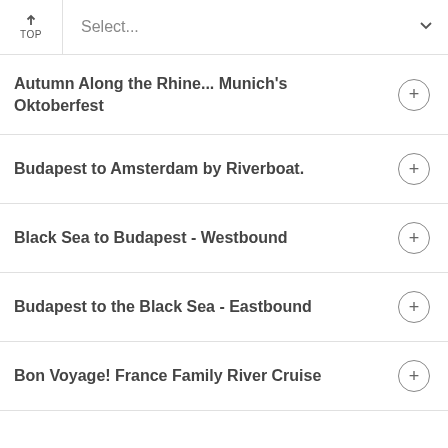TOP | Select...
Autumn Along the Rhine... Munich's Oktoberfest
Budapest to Amsterdam by Riverboat.
Black Sea to Budapest - Westbound
Budapest to the Black Sea - Eastbound
Bon Voyage! France Family River Cruise